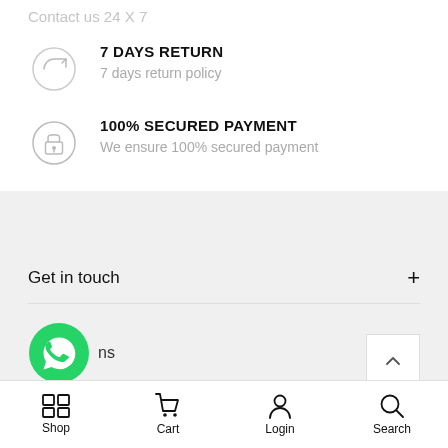Contact us 24 X 7
7 DAYS RETURN
7 days return policy
100% SECURED PAYMENT
We ensure 100% secured payment
Get in touch
[Figure (logo): WhatsApp green logo icon]
ns
Shop  Cart  Login  Search